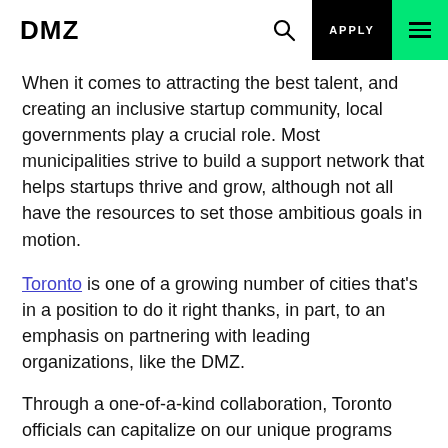DMZ | APPLY
When it comes to attracting the best talent, and creating an inclusive startup community, local governments play a crucial role. Most municipalities strive to build a support network that helps startups thrive and grow, although not all have the resources to set those ambitious goals in motion.
Toronto is one of a growing number of cities that's in a position to do it right thanks, in part, to an emphasis on partnering with leading organizations, like the DMZ.
Through a one-of-a-kind collaboration, Toronto officials can capitalize on our unique programs